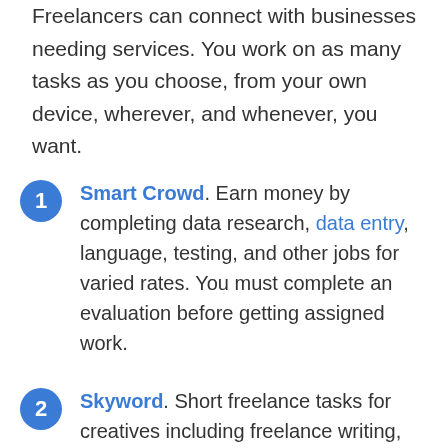Freelancers can connect with businesses needing services. You work on as many tasks as you choose, from your own device, wherever, and whenever, you want.
Smart Crowd. Earn money by completing data research, data entry, language, testing, and other jobs for varied rates. You must complete an evaluation before getting assigned work.
Skyword. Short freelance tasks for creatives including freelance writing, graphic design, videography, and photography.